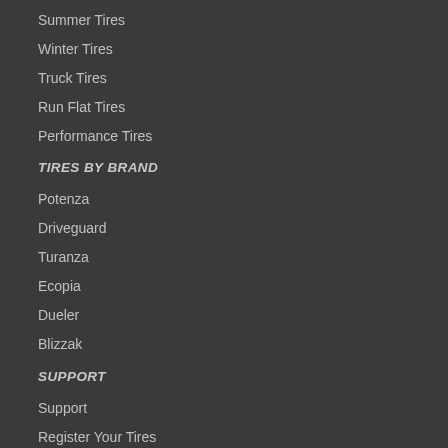Summer Tires
Winter Tires
Truck Tires
Run Flat Tires
Performance Tires
TIRES BY BRAND
Potenza
Driveguard
Turanza
Ecopia
Dueler
Blizzak
SUPPORT
Support
Register Your Tires
Tire Warranties
Credit Cards